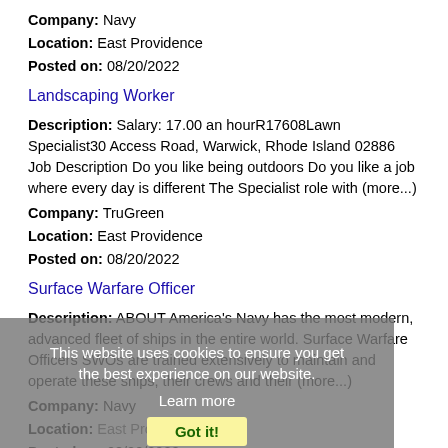Company: Navy
Location: East Providence
Posted on: 08/20/2022
Landscaping Worker
Description: Salary: 17.00 an hourR17608Lawn Specialist30 Access Road, Warwick, Rhode Island 02886 Job Description Do you like being outdoors Do you like a job where every day is different The Specialist role with (more...)
Company: TruGreen
Location: East Providence
Posted on: 08/20/2022
Surface Warfare Officer
Description: ABOUT America's Navy has the most modern, advanced fleet of ships in the entire world. Surface Warfare Officers SWOs are trained extensively to maintain and operate these ships, their crews and their (more...)
Company: Navy
Location: East Providence
Posted on: 08/20/2022
This website uses cookies to ensure you get the best experience on our website.
Learn more
Got it!
Salary in Brookline, Massachusetts Area | More details for Brookline, Massachusetts Jobs |Salary